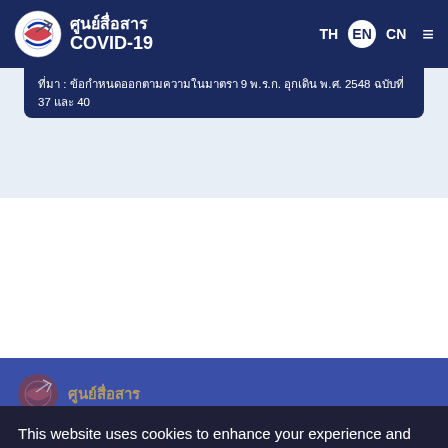[Figure (screenshot): COVID-19 Crisis Communication Management Center website header with logo, Thai text ศูนย์สื่อสาร COVID-19, and language navigation buttons TH, EN, CN plus hamburger menu]
ที่มา : ข้อกำหนดออกตามความในมาตรา 9 พ.ร.ก. อุกเดิน พ.ศ. 2548 ฉบับที่ 37 และ 40
[Figure (logo): Footer logo area with ศูนย์สื่อสาร Thai text in gold and globe icon, Crisis Communication Management Center text]
This website uses cookies to enhance your experience and providing the best service from us. Please confirm the acceptance.
Cookie Settings
Accept All
webm...co...h